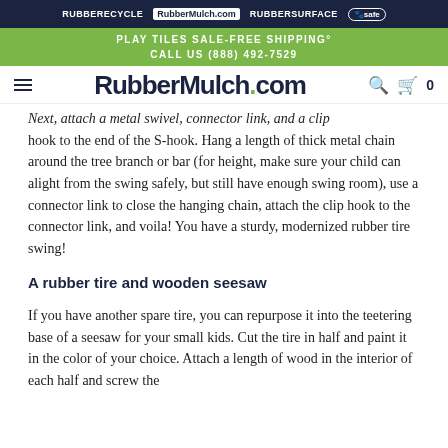RUBBERECYCLE | RubberMulch.com | Rubbersurface | [logo]safe
PLAY TILES SALE-FREE SHIPPING° CALL US (888) 492-7529
RubberMulch.com
Next, attach a metal swivel, connector link, and a clip hook to the end of the S-hook. Hang a length of thick metal chain around the tree branch or bar (for height, make sure your child can alight from the swing safely, but still have enough swing room), use a connector link to close the hanging chain, attach the clip hook to the connector link, and voila! You have a sturdy, modernized rubber tire swing!
A rubber tire and wooden seesaw
If you have another spare tire, you can repurpose it into the teetering base of a seesaw for your small kids. Cut the tire in half and paint it in the color of your choice. Attach a length of wood in the interior of each half and screw the